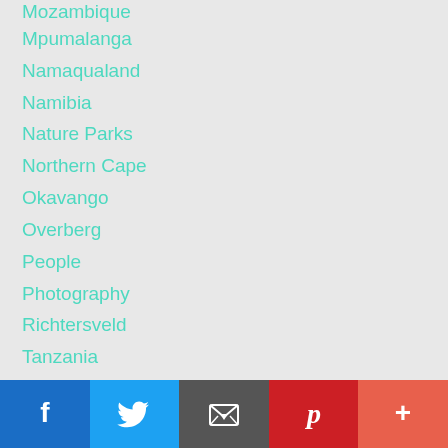Mozambique
Mpumalanga
Namaqualand
Namibia
Nature Parks
Northern Cape
Okavango
Overberg
People
Photography
Richtersveld
Tanzania
West Coast
Western Cape
Wild Creatures
Zambia
Zimbabwe
[Figure (infographic): Social sharing bar with Facebook, Twitter, Email, Pinterest, and More (+) buttons]